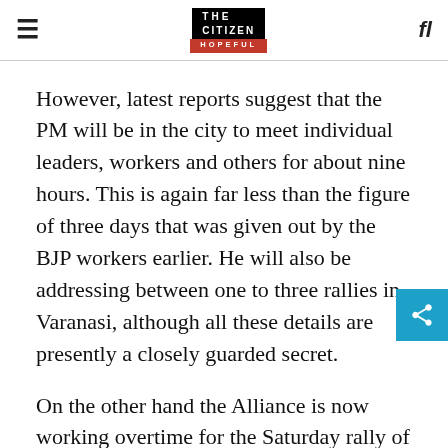THE CITIZEN IS HOPEFUL
However, latest reports suggest that the PM will be in the city to meet individual leaders, workers and others for about nine hours. This is again far less than the figure of three days that was given out by the BJP workers earlier. He will also be addressing between one to three rallies in Varanasi, although all these details are presently a closely guarded secret.
On the other hand the Alliance is now working overtime for the Saturday rally of Akhilesh Yadav and Rahul Gandhi. The date was discussed with the local leaders,